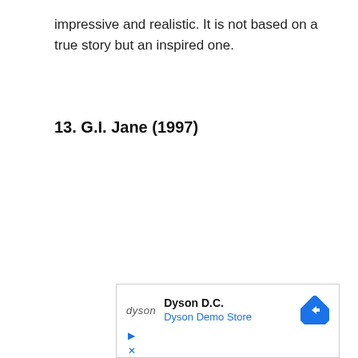impressive and realistic. It is not based on a true story but an inspired one.
13. G.I. Jane (1997)
[Figure (other): Advertisement for Dyson D.C. Dyson Demo Store with Dyson logo, navigation arrow icon, and ad controls (play and close buttons).]